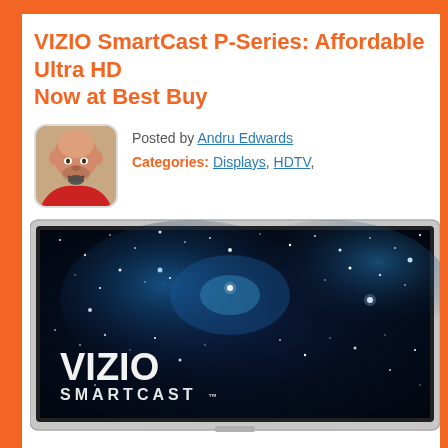VIZIO SmartCast P-Series: Affordable Ultra HD Now at Best Buy
Posted by Andru Edwards
Categories: Displays, HDTV,
[Figure (photo): VIZIO SmartCast P-Series TV showing a star field galaxy image on the screen with VIZIO SMARTCAST branding visible, displayed in a silver/white TV frame]